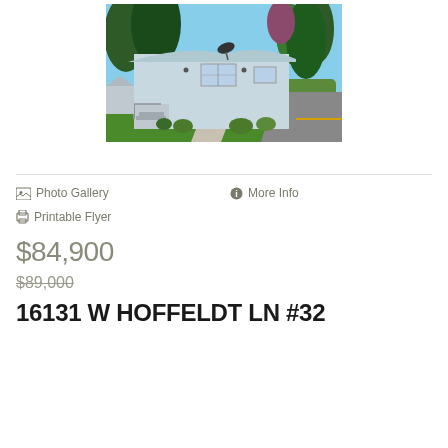[Figure (photo): Exterior photo of a white manufactured/mobile home with green lawn, bushes, concrete walkway, satellite dish on roof, surrounded by tall evergreen trees, sunny day, driveway visible on right]
Photo Gallery
More Info
Printable Flyer
$84,900
$89,000
16131 W HOFFELDT LN #32